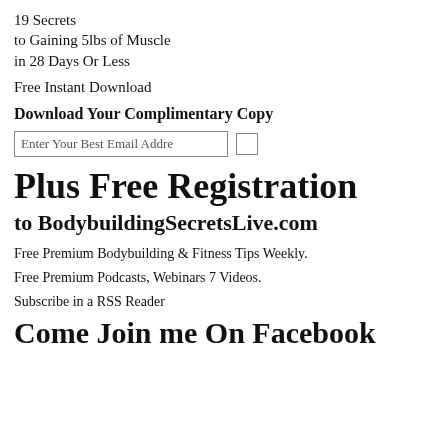19 Secrets
to Gaining 5lbs of Muscle
in 28 Days Or Less
Free Instant Download
Download Your Complimentary Copy
Enter Your Best Email Addre
Plus Free Registration
to BodybuildingSecretsLive.com
Free Premium Bodybuilding & Fitness Tips Weekly.
Free Premium Podcasts, Webinars 7 Videos.
Subscribe in a RSS Reader
Come Join me On Facebook